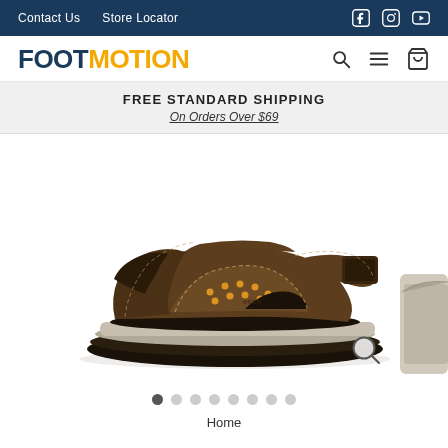Contact Us   Store Locator
FOOTMOTION
FREE STANDARD SHIPPING
On Orders Over $69
[Figure (photo): Brown leather ECCO sport sandal with velcro straps, perforated upper, and chunky outsole, shown on white background. Partial second sandal visible at right edge.]
Home